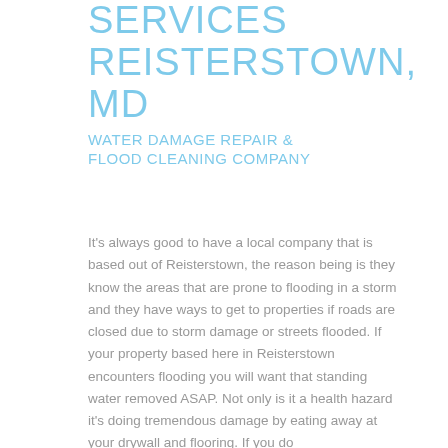SERVICES REISTERSTOWN, MD WATER DAMAGE REPAIR & FLOOD CLEANING COMPANY
It's always good to have a local company that is based out of Reisterstown, the reason being is they know the areas that are prone to flooding in a storm and they have ways to get to properties if roads are closed due to storm damage or streets flooded. If your property based here in Reisterstown encounters flooding you will want that standing water removed ASAP. Not only is it a health hazard it's doing tremendous damage by eating away at your drywall and flooring. If you do